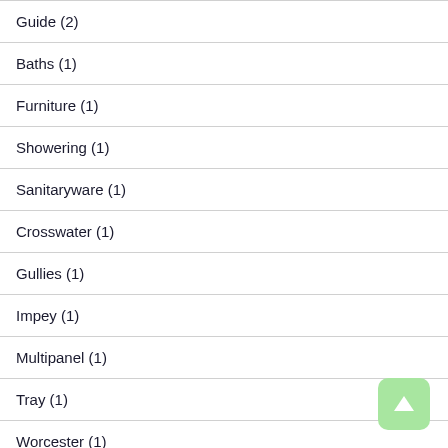Guide (2)
Baths (1)
Furniture (1)
Showering (1)
Sanitaryware (1)
Crosswater (1)
Gullies (1)
Impey (1)
Multipanel (1)
Tray (1)
Worcester (1)
Mixer (1)
Vanity Unit (1)